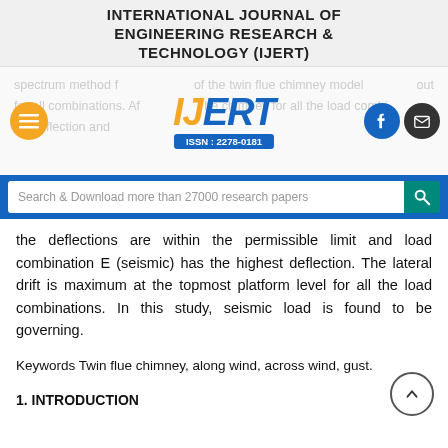INTERNATIONAL JOURNAL OF ENGINEERING RESEARCH & TECHNOLOGY (IJERT)
[Figure (logo): IJERT logo with ISSN: 2278-0181, overlaid on faded background text about spectrum method and twin flue chimney model]
Search & Download more than 27000 research papers
the deflections are within the permissible limit and load combination E (seismic) has the highest deflection. The lateral drift is maximum at the topmost platform level for all the load combinations. In this study, seismic load is found to be governing.
Keywords Twin flue chimney, along wind, across wind, gust.
1. INTRODUCTION